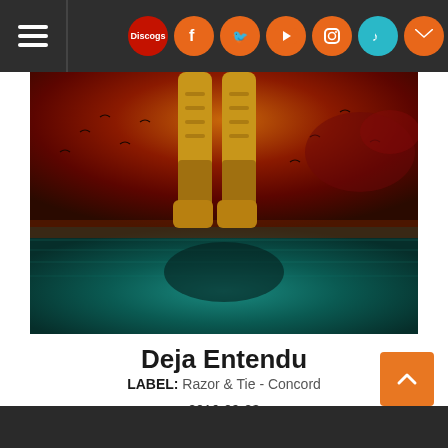Navigation bar with hamburger menu and social icons: Discogs, Facebook, Twitter, YouTube, Instagram, TikTok, Email
[Figure (photo): Album cover art showing legs in a gold spacesuit floating above a vivid landscape with orange/red cloudy upper half and teal/blue water lower half]
Deja Entendu
LABEL: Razor & Tie - Concord
2016-09-23
MP3 Album: $9.99 DOWNLOAD